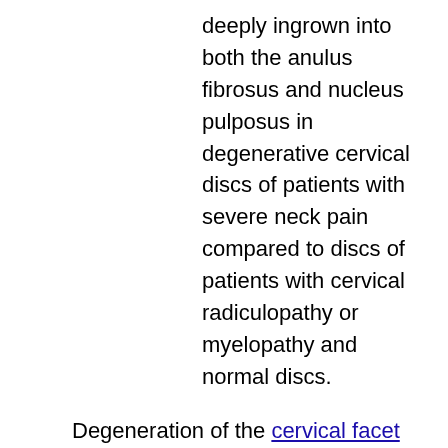deeply ingrown into both the anulus fibrosus and nucleus pulposus in degenerative cervical discs of patients with severe neck pain compared to discs of patients with cervical radiculopathy or myelopathy and normal discs.
Degeneration of the cervical facet joints can also have a significant contribution to mechanical neck pain. The facet joints and discs are closely related as they form the basis of motion between the spinal bones. As these structures degenerate they become unstable at the affected area and serve to further the process of degeneration.
Some suggest that the loss of the normal forward curve resulting from cervical disc degeneration causes muscle spasm and mechanical or axial